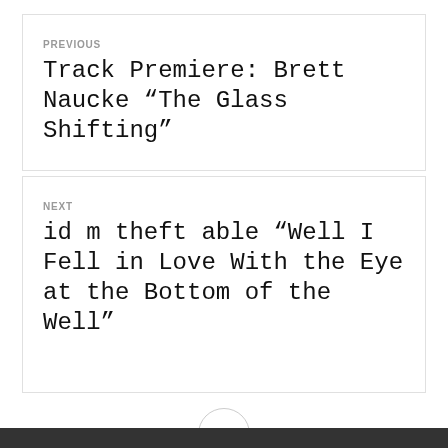PREVIOUS
Track Premiere: Brett Naucke “The Glass Shifting”
NEXT
id m theft able “Well I Fell in Love With the Eye at the Bottom of the Well”